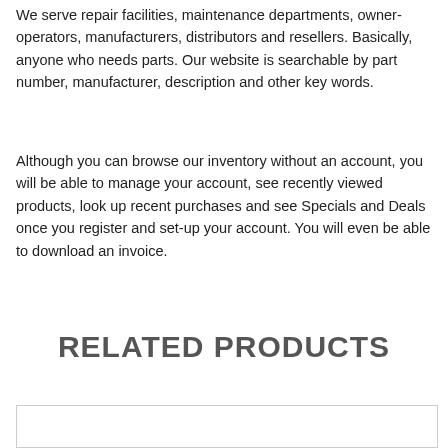We serve repair facilities, maintenance departments, owner-operators, manufacturers, distributors and resellers. Basically, anyone who needs parts. Our website is searchable by part number, manufacturer, description and other key words.
Although you can browse our inventory without an account, you will be able to manage your account, see recently viewed products, look up recent purchases and see Specials and Deals once you register and set-up your account. You will even be able to download an invoice.
RELATED PRODUCTS